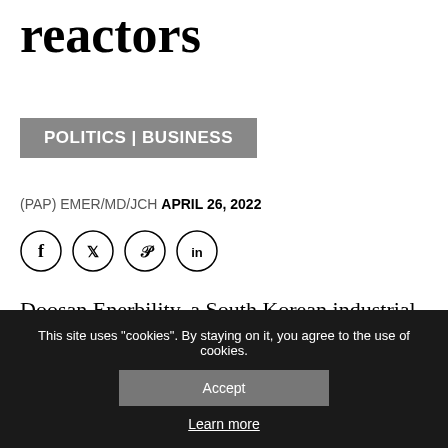reactors
POLITICS | BUSINESS
(PAP) EMER/MD/JCH APRIL 26, 2022
[Figure (other): Social media sharing icons: Facebook, Twitter, Pinterest, LinkedIn]
Doosan Enerbility, a South Korean industrial and energy company, will make parts for Poland's small modular reactors (SMRs), developed jointly by the US SMR technology developer NuScale P... and Polish...
This site uses "cookies". By staying on it, you agree to the use of cookies.
Accept
Learn more